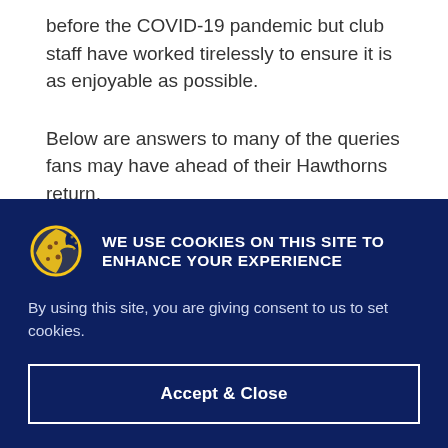before the COVID-19 pandemic but club staff have worked tirelessly to ensure it is as enjoyable as possible.
Below are answers to many of the queries fans may have ahead of their Hawthorns return.
Tickets
WE USE COOKIES ON THIS SITE TO ENHANCE YOUR EXPERIENCE
By using this site, you are giving consent to us to set cookies.
Accept & Close